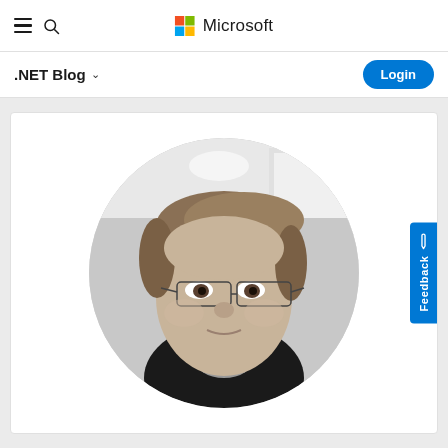.NET Blog — Microsoft header with navigation and Login button
[Figure (photo): Circular cropped black-and-white photograph of a person with glasses and short hair, set inside a white card on a light grey background. The person appears to be looking slightly off-camera.]
Feedback